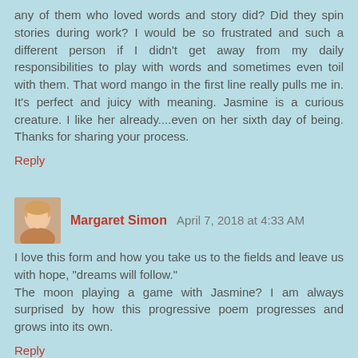any of them who loved words and story did? Did they spin stories during work? I would be so frustrated and such a different person if I didn't get away from my daily responsibilities to play with words and sometimes even toil with them. That word mango in the first line really pulls me in. It's perfect and juicy with meaning. Jasmine is a curious creature. I like her already....even on her sixth day of being. Thanks for sharing your process.
Reply
[Figure (photo): Avatar photo of Margaret Simon, a woman with blonde hair]
Margaret Simon  April 7, 2018 at 4:33 AM
I love this form and how you take us to the fields and leave us with hope, "dreams will follow."
The moon playing a game with Jasmine? I am always surprised by how this progressive poem progresses and grows into its own.
Reply
[Figure (illustration): Orange circular avatar icon for Whispers from the Ridge]
Whispers from the Ridge  April 7, 2018 at 4:25 PM